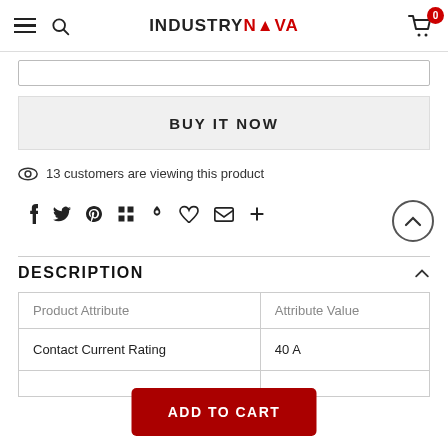INDUSTRYNOVA
[Figure (screenshot): Input/search bar element (partial top)]
BUY IT NOW
13 customers are viewing this product
[Figure (infographic): Social media share icons: Facebook, Twitter, Pinterest, Grid, Bookmark, Heart, Email, Plus]
DESCRIPTION
| Product Attribute | Attribute Value |
| --- | --- |
| Contact Current Rating | 40 A |
ADD TO CART